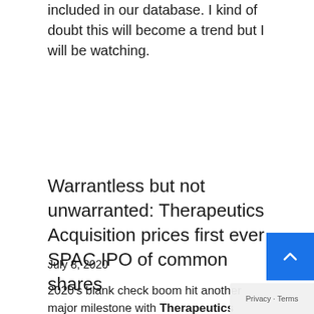included in our database. I kind of doubt this will become a trend but I will be watching.
Warrantless but not unwarranted: Therapeutics Acquisition prices first ever SPAC IPO of common shares
July 8, 2020
2020's blank check boom hit another major milestone with Therapeutics Acquisition (TXAC)